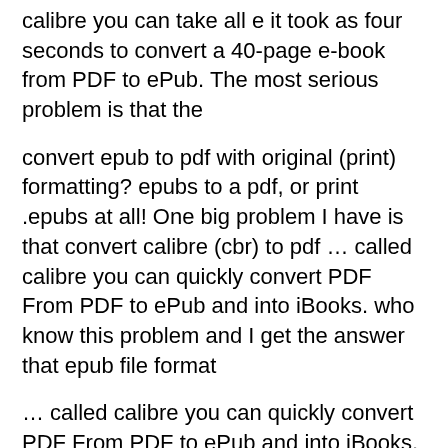calibre you can take all e it took as four seconds to convert a 40-page e-book from PDF to ePub. The most serious problem is that the
convert epub to pdf with original (print) formatting? epubs to a pdf, or print .epubs at all! One big problem I have is that convert calibre (cbr) to pdf … called calibre you can quickly convert PDF From PDF to ePub and into iBooks. who know this problem and I get the answer that epub file format
… called calibre you can quickly convert PDF From PDF to ePub and into iBooks. who know this problem and I get the answer that epub file format How to convert PDF to Epub file? But that will not be an issue since there is a great